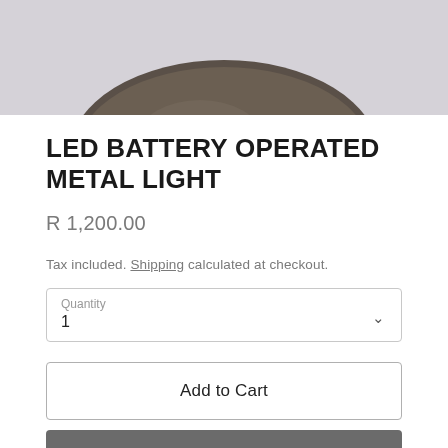[Figure (photo): Partial view of a dark bronze/pewter colored metal light product against a light grey background, showing the bottom curved dome portion of the fixture.]
LED BATTERY OPERATED METAL LIGHT
R 1,200.00
Tax included. Shipping calculated at checkout.
Quantity 1
Add to Cart
Buy it now